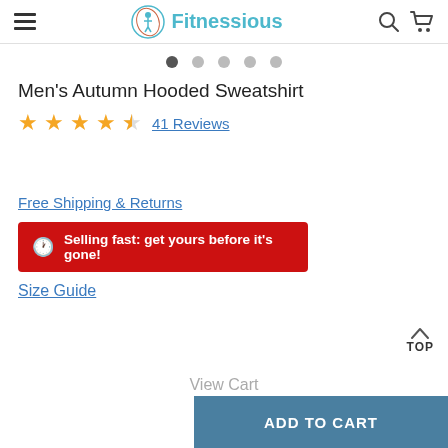Fitnessious
[Figure (other): Carousel pagination dots, first dot active]
Men's Autumn Hooded Sweatshirt
★★★★½ 41 Reviews
Free Shipping & Returns
🕐 Selling fast: get yours before it's gone!
Size Guide
View Cart
ADD TO CART